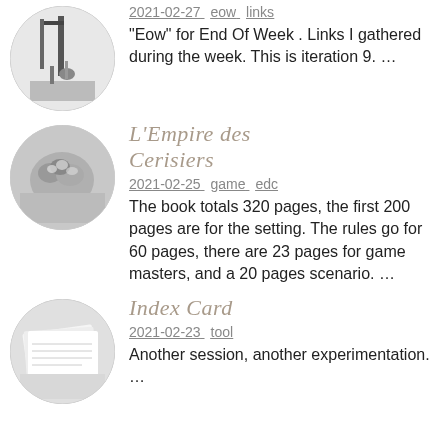[Figure (illustration): Circular black and white thumbnail of a crane or industrial machinery]
2021-02-27   eow links
"Eow" for End Of Week . Links I gathered during the week. This is iteration 9. …
[Figure (photo): Circular black and white thumbnail of cherry blossoms or flowers]
L'Empire des Cerisiers
2021-02-25   game edc
The book totals 320 pages, the first 200 pages are for the setting. The rules go for 60 pages, there are 23 pages for game masters, and a 20 pages scenario. …
[Figure (photo): Circular black and white thumbnail of index cards stacked]
Index Card
2021-02-23   tool
Another session, another experimentation. …